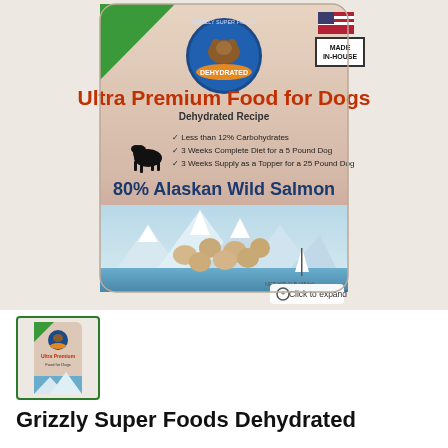[Figure (photo): Product bag of Grizzly Super Foods Dehydrated Ultra Premium Food for Dogs, 80% Alaskan Wild Salmon. The bag features a green upper-left triangle, a circular bear logo, US flag, 'Made In-House' stamp, red text 'Ultra Premium Food for Dogs', checkmarks listing features, mountain scene with salmon bits and a sailboat. A 'Click to expand' button overlays the bottom-right corner.]
[Figure (photo): Thumbnail image of the same Grizzly Super Foods Dehydrated dog food bag product.]
Grizzly Super Foods Dehydrated